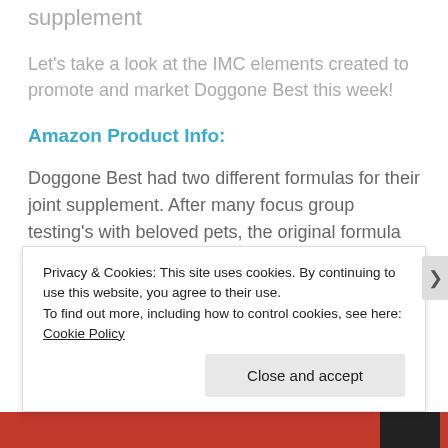supplement
Let's take a look at the IMC elements created to promote and market Doggone Best this week!
Amazon Product Info:
Doggone Best had two different formulas for their joint supplement. After many focus group testing's with beloved pets, the original formula which was chicken liver flavor won out over the beef flavored formula. To market that the original formula will be in
Privacy & Cookies: This site uses cookies. By continuing to use this website, you agree to their use.
To find out more, including how to control cookies, see here: Cookie Policy
Close and accept